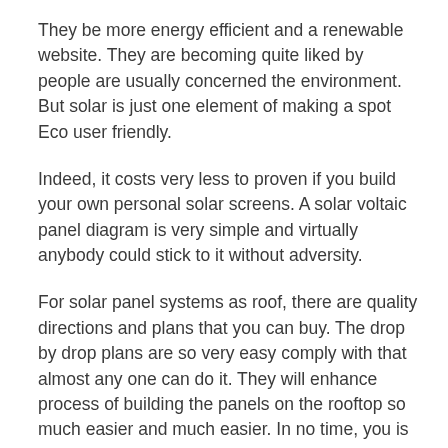They be more energy efficient and a renewable website. They are becoming quite liked by people are usually concerned the environment. But solar is just one element of making a spot Eco user friendly.
Indeed, it costs very less to proven if you build your own personal solar screens. A solar voltaic panel diagram is very simple and virtually anybody could stick to it without adversity.
For solar panel systems as roof, there are quality directions and plans that you can buy. The drop by drop plans are so very easy comply with that almost any one can do it. They will enhance process of building the panels on the rooftop so much easier and much easier. In no time, you is actually going to enjoying the luxury of without electric charge.